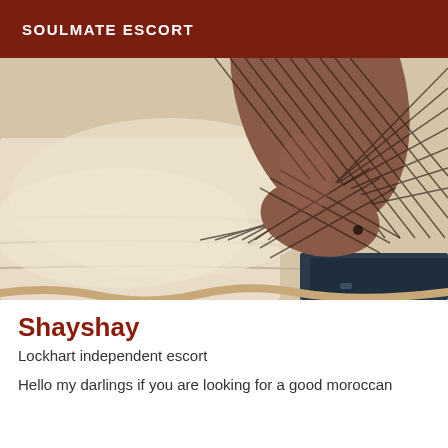SOULMATE ESCORT
[Figure (photo): Close-up photo of a foot wearing fishnet stockings resting on white bedding/pillows]
Shayshay
Lockhart independent escort
Hello my darlings if you are looking for a good moroccan